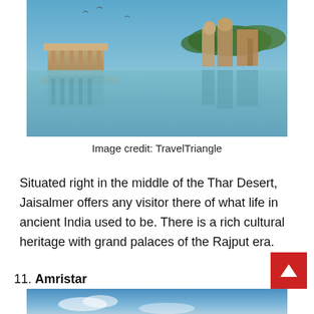[Figure (photo): Ancient temple structures and pavilions on the edge of a lake in Jaisalmer, with reflections visible in the calm water below. Trees visible in the background on the right side.]
Image credit: TravelTriangle
Situated right in the middle of the Thar Desert, Jaisalmer offers any visitor there of what life in ancient India used to be. There is a rich cultural heritage with grand palaces of the Rajput era.
11. Amristar
[Figure (photo): Partial view of a blue sky scene, presumably a photo of Amristar — only the top portion visible at bottom of page.]